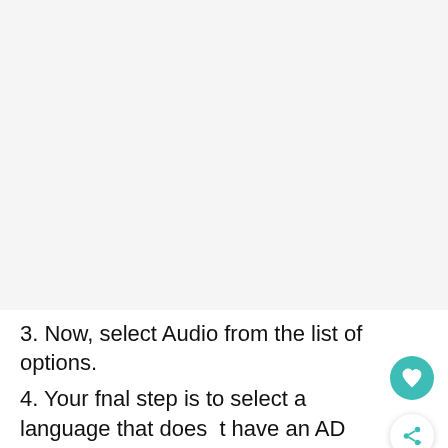[Figure (screenshot): A screenshot area (light gray background), showing a device settings screen — the content is scrolled/cut off and the main visible area is blank/light gray.]
3. Now, select Audio from the list of options.
4. Your fnal step is to select a language that does not have an AD next to it which stands for Audio
[Figure (illustration): Teal circular heart/favorite button icon]
[Figure (illustration): White circular share button icon]